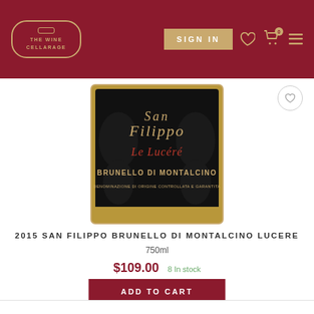THE WINE CELLARAGE | SIGN IN
[Figure (photo): Wine bottle label for San Filippo Le Lucere Brunello di Montalcino, black label with gold border, text in gold and red on black background]
2015 SAN FILIPPO BRUNELLO DI MONTALCINO LUCERE
750ml
$109.00   8 In stock
ADD TO CART